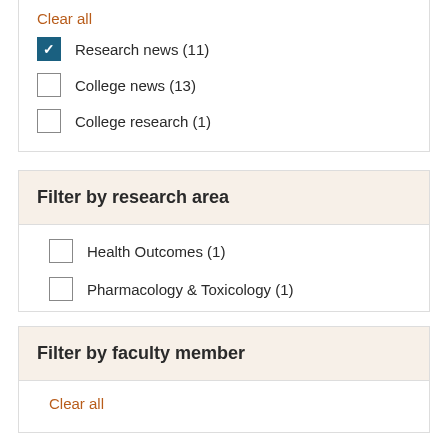Clear all
Research news (11)
College news (13)
College research (1)
Filter by research area
Health Outcomes (1)
Pharmacology & Toxicology (1)
Filter by faculty member
Clear all